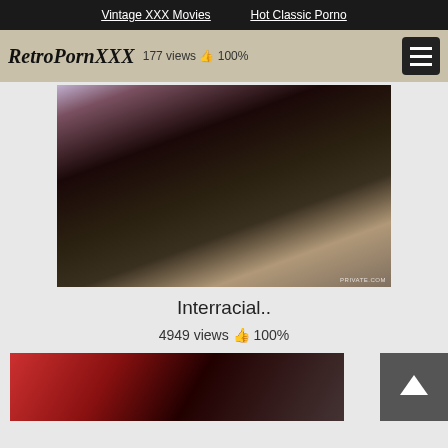Vintage XXX Movies   Hot Classic Porno
RetroPornXXX 177 views 👍 100%
[Figure (photo): Interracial adult content video thumbnail with PRIVATE.COM watermark]
Interracial..
4949 views 👍 100%
[Figure (photo): Partial video thumbnail showing red clothing, bottom of page]